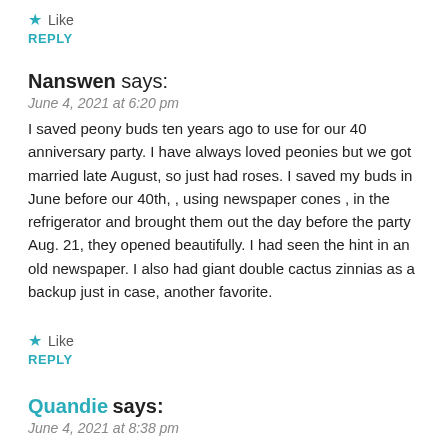★ Like
REPLY
Nanswen says:
June 4, 2021 at 6:20 pm
I saved peony buds ten years ago to use for our 40 anniversary party. I have always loved peonies but we got married late August, so just had roses. I saved my buds in June before our 40th, , using newspaper cones , in the refrigerator and brought them out the day before the party Aug. 21, they opened beautifully. I had seen the hint in an old newspaper. I also had giant double cactus zinnias as a backup just in case, another favorite.
★ Like
REPLY
Quandie says:
June 4, 2021 at 8:38 pm